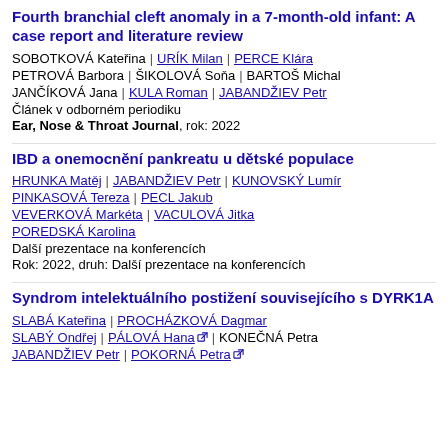Fourth branchial cleft anomaly in a 7-month-old infant: A case report and literature review
SOBOTKOVÁ Kateřina | URÍK Milan | PERCE Klára | PETROVÁ Barbora | ŠIKOLOVÁ Soňa | BARTOŠ Michal | JANČÍKOVÁ Jana | KULA Roman | JABANDŽIEV Petr
Článek v odborném periodiku
Ear, Nose & Throat Journal, rok: 2022
IBD a onemocnění pankreatu u dětské populace
HRUNKA Matěj | JABANDŽIEV Petr | KUNOVSKÝ Lumír | PINKASOVÁ Tereza | PECL Jakub | VEVERKOVÁ Markéta | VACULOVÁ Jitka | POREDSKÁ Karolina
Další prezentace na konferencích
Rok: 2022, druh: Další prezentace na konferencích
Syndrom intelektuálního postižení souvisejícího s DYRK1A
SLABÁ Kateřina | PROCHÁZKOVÁ Dagmar | SLABÝ Ondřej | PÁLOVÁ Hana | KONEČNÁ Petra | JABANDŽIEV Petr | POKORNÁ Petra